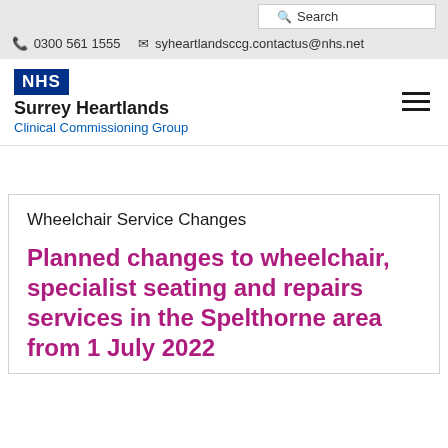Search
0300 561 1555   syheartlandsccg.contactus@nhs.net
[Figure (logo): NHS Surrey Heartlands Clinical Commissioning Group logo]
Wheelchair Service Changes
Planned changes to wheelchair, specialist seating and repairs services in the Spelthorne area from 1 July 2022